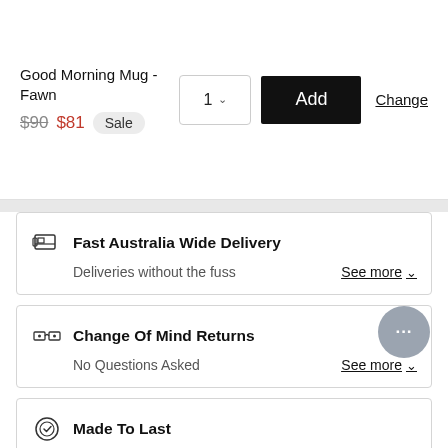Good Morning Mug - Fawn
$90  $81  Sale
1  Add  Change
Fast Australia Wide Delivery
Deliveries without the fuss
See more
Change Of Mind Returns
No Questions Asked
See more
Made To Last
Buy With Confidence
See more